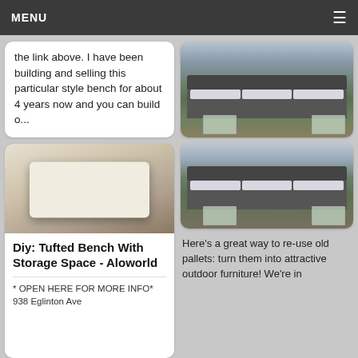MENU
the link above. I have been building and selling this particular style bench for about 4 years now and you can build o...
[Figure (photo): Photo of a white tufted storage bench ottoman on a workshop floor with wood and materials in the background]
Diy: Tufted Bench With Storage Space - Aloworld
* OPEN HERE FOR MORE INFO* 938 Eglinton Ave
[Figure (photo): Top-down view of a patio with dark pallet furniture, dark cushions with white pillows, and two square glass-top coffee tables on green grass]
[Figure (photo): Side view of a patio with dark pallet sofa furniture with dark cushions and white pillows, and square framed coffee tables on green grass]
Here&#39;s a great way to re-use old pallets: turn them into attractive outdoor furniture! We&#39;re in